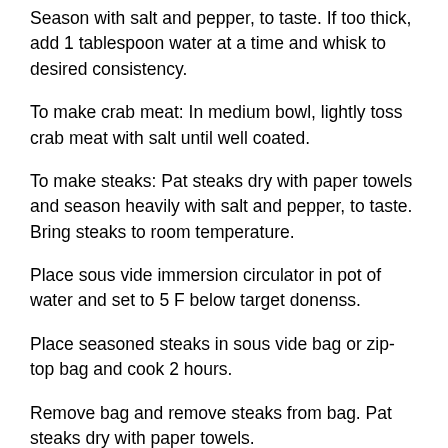Season with salt and pepper, to taste. If too thick, add 1 tablespoon water at a time and whisk to desired consistency.
To make crab meat: In medium bowl, lightly toss crab meat with salt until well coated.
To make steaks: Pat steaks dry with paper towels and season heavily with salt and pepper, to taste. Bring steaks to room temperature.
Place sous vide immersion circulator in pot of water and set to 5 F below target donenss.
Place seasoned steaks in sous vide bag or zip-top bag and cook 2 hours.
Remove bag and remove steaks from bag. Pat steaks dry with paper towels.
Warm large cast-iron pan over high heat and add oil. Add steaks, butter, garlic cloves and thyme leaves. After about 1 minute, steaks should start to brown.